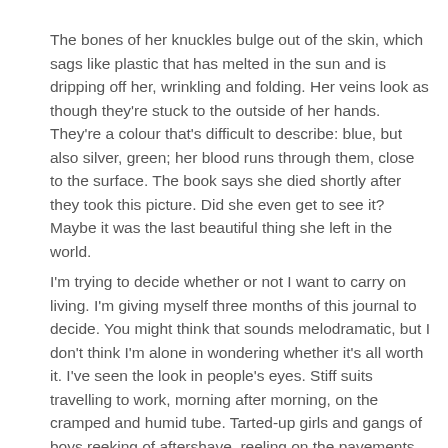The bones of her knuckles bulge out of the skin, which sags like plastic that has melted in the sun and is dripping off her, wrinkling and folding. Her veins look as though they're stuck to the outside of her hands. They're a colour that's difficult to describe: blue, but also silver, green; her blood runs through them, close to the surface. The book says she died shortly after they took this picture. Did she even get to see it? Maybe it was the last beautiful thing she left in the world.
I'm trying to decide whether or not I want to carry on living. I'm giving myself three months of this journal to decide. You might think that sounds melodramatic, but I don't think I'm alone in wondering whether it's all worth it. I've seen the look in people's eyes. Stiff suits travelling to work, morning after morning, on the cramped and humid tube. Tarted-up girls and gangs of boys reeking of aftershave, reeling on the pavements on a Friday night, trying to mop up the dreariness